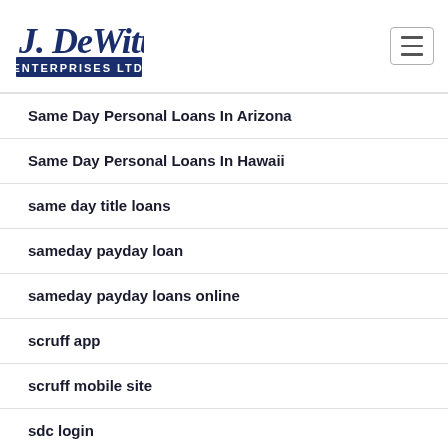[Figure (logo): J. DeWitt Enterprises Ltd logo in dark blue cursive and block letters]
Same Day Personal Loans In Arizona
Same Day Personal Loans In Hawaii
same day title loans
sameday payday loan
sameday payday loans online
scruff app
scruff mobile site
sdc login